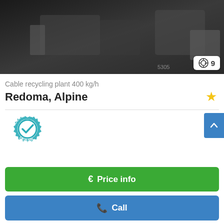[Figure (photo): Dark industrial photo of cable recycling plant machinery, partially visible]
⊕ 9
Cable recycling plant 400 kg/h
Redoma, Alpine
[Figure (logo): Certified Dealer badge with gear shape, teal color, checkmark in center]
€ Price info
✆ Call
München 🇩🇪
6844 km ?
1999
✈ Save search query
🔧 ready for operation (used)